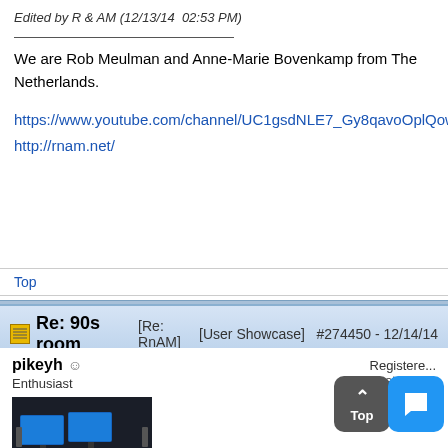Edited by R & AM (12/13/14  02:53 PM)
We are Rob Meulman and Anne-Marie Bovenkamp from The Netherlands.
https://www.youtube.com/channel/UC1gsdNLE7_Gy8qavoOplQow/
http://rnam.net/
Top
Re: 90s room [Re: RnAM]   [User Showcase]   #274450 - 12/14/14
pikeyh
Enthusiast
Registere...
Posts: 86...
Loc: sout...